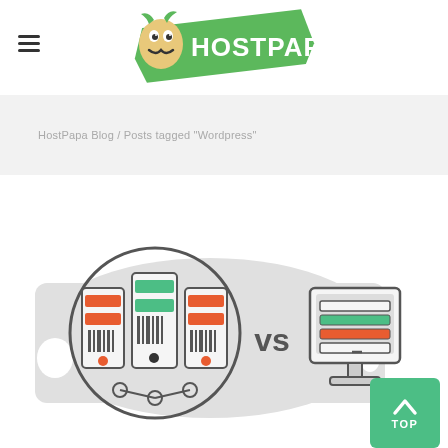[Figure (logo): HostPapa logo with cartoon mascot (potato character with mustache) and green banner text reading HOSTPAPA]
HostPapa Blog / Posts tagged "Wordpress"
[Figure (illustration): Illustration showing server cluster (three servers with orange and green colored bars in a circle) vs a desktop computer with stacked storage devices, with 'vs' text in the middle, on a gray background shape]
[Figure (other): Green TOP button with upward arrow chevron]